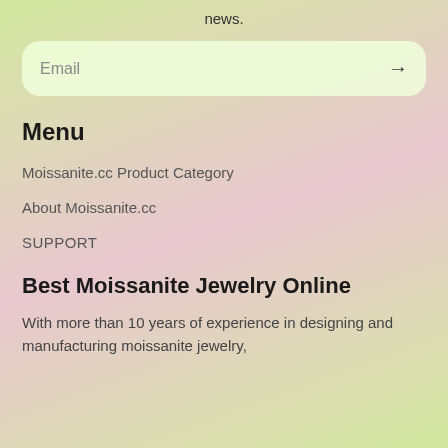news.
Email →
Menu
Moissanite.cc Product Category
About Moissanite.cc
SUPPORT
Best Moissanite Jewelry Online
With more than 10 years of experience in designing and manufacturing moissanite jewelry,